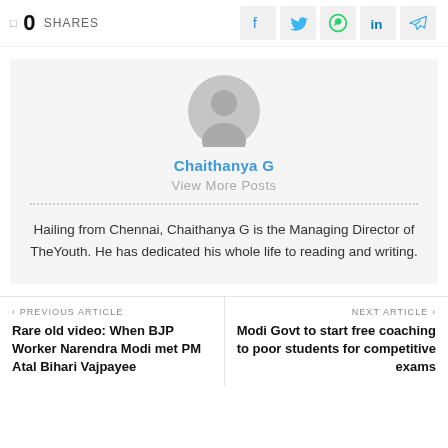0 SHARES
[Figure (infographic): Social share icons: Facebook, Twitter, WhatsApp, LinkedIn, Telegram]
[Figure (illustration): Generic grey user avatar icon circle]
Chaithanya G
View More Posts
Hailing from Chennai, Chaithanya G is the Managing Director of TheYouth. He has dedicated his whole life to reading and writing.
PREVIOUS ARTICLE
Rare old video: When BJP Worker Narendra Modi met PM Atal Bihari Vajpayee
NEXT ARTICLE
Modi Govt to start free coaching to poor students for competitive exams